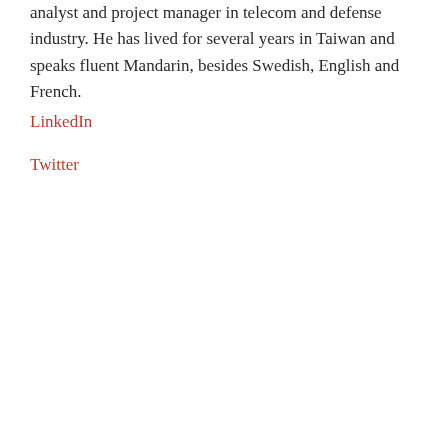analyst and project manager in telecom and defense industry. He has lived for several years in Taiwan and speaks fluent Mandarin, besides Swedish, English and French.
LinkedIn
Twitter